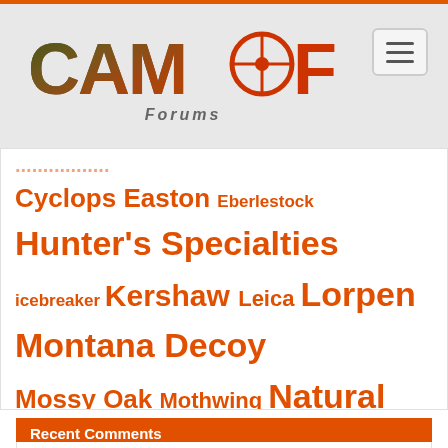[Figure (logo): CAMOFIRE Forums logo with camouflage and orange color styling, with menu hamburger button in top right]
Cyclops Easton Eberlestock Hunter's Specialties icebreaker Kershaw Leica Lorpen Montana Decoy Mossy Oak Mothwing Natural Gear Nikon Primos Princeton Tec Rinehart Rocky Russell Outdoors Scent Blocker Sitka SOG Spypoint Stealth Cam Team Realtree Tenzing Timber Hawk Under Armour UNLEASHED Vanguard Vortex Wildgame Innovations Zeiss
Recent Comments
Tim Brown on What to Look For in Good Hunting Shoes